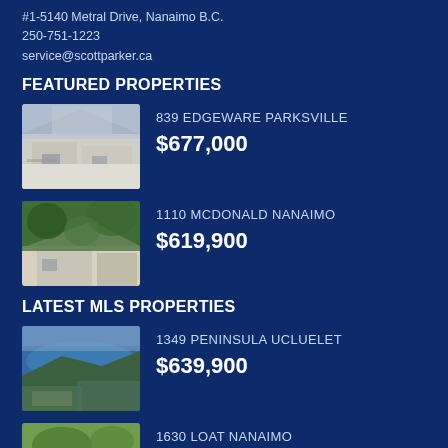#1-5140 Metral Drive, Nanaimo B.C.
250-751-1223
service@scottparker.ca
FEATURED PROPERTIES
839 EDGEWARE PARKSVILLE — $677,000
1110 MCDONALD NANAIMO — $619,900
LATEST MLS PROPERTIES
1349 PENINSULA UCLUELET — $639,900
1630 LOAT NANAIMO